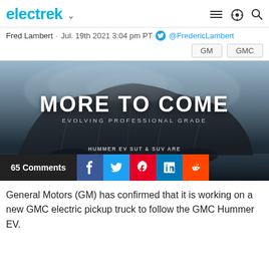electrek
Fred Lambert · Jul. 19th 2021 3:04 pm PT @FredericLambert
GM   GMC
[Figure (photo): A vehicle covered with a dark drape on a dramatic sky background with text: 'MORE TO COME — EVOLVING PROFESSIONAL GRADE' and 'HUMMER EV SUT & SUV ARE JUST THE BEGINNING FOR']
65 Comments
General Motors (GM) has confirmed that it is working on a new GMC electric pickup truck to follow the GMC Hummer EV.